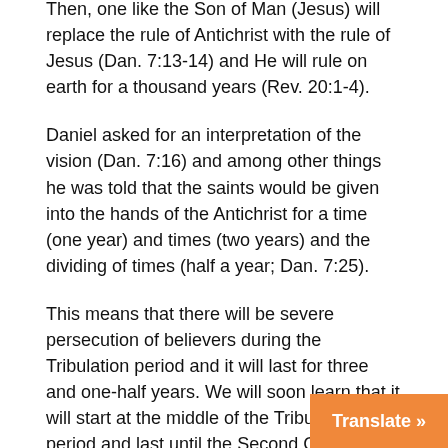Then, one like the Son of Man (Jesus) will replace the rule of Antichrist with the rule of Jesus (Dan. 7:13-14) and He will rule on earth for a thousand years (Rev. 20:1-4).
Daniel asked for an interpretation of the vision (Dan. 7:16) and among other things he was told that the saints would be given into the hands of the Antichrist for a time (one year) and times (two years) and the dividing of times (half a year; Dan. 7:25).
This means that there will be severe persecution of believers during the Tribulation period and it will last for three and one-half years. We will soon learn that it will start at the middle of the Tribulation period and last until the Second Coming of Jesus.
Daniel chapter 9 reveals that the angel Gabriel told Daniel the Antichrist will confirm a covenant for one week of years (seven years), but in the middle of that week of years (after three and one-half years) he will cause the sacrifice and oblation to cease (Dan. 9:27). Stopping the oblation at the Temple will mark the midd...